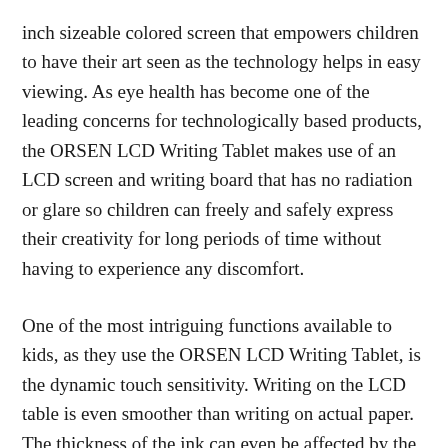inch sizeable colored screen that empowers children to have their art seen as the technology helps in easy viewing. As eye health has become one of the leading concerns for technologically based products, the ORSEN LCD Writing Tablet makes use of an LCD screen and writing board that has no radiation or glare so children can freely and safely express their creativity for long periods of time without having to experience any discomfort.
One of the most intriguing functions available to kids, as they use the ORSEN LCD Writing Tablet, is the dynamic touch sensitivity. Writing on the LCD table is even smoother than writing on actual paper. The thickness of the ink can even be affected by the pressure applied on